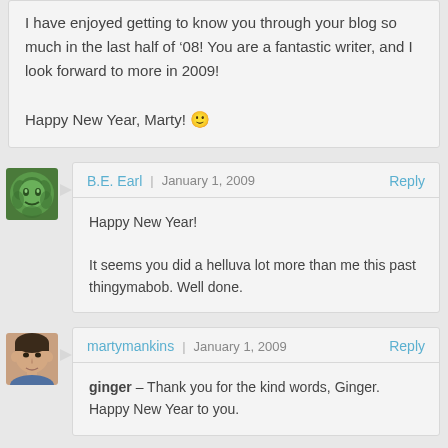I have enjoyed getting to know you through your blog so much in the last half of '08! You are a fantastic writer, and I look forward to more in 2009!

Happy New Year, Marty! 🙂
B.E. Earl | January 1, 2009 Reply
Happy New Year!

It seems you did a helluva lot more than me this past thingymabob. Well done.
martymankins | January 1, 2009 Reply
ginger – Thank you for the kind words, Ginger. Happy New Year to you.